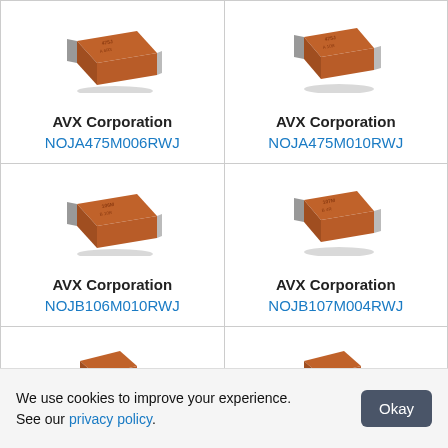[Figure (photo): AVX tantalum capacitor NOJA475M006RWJ - orange/brown rectangular SMD component]
AVX Corporation
NOJA475M006RWJ
[Figure (photo): AVX tantalum capacitor NOJA475M010RWJ - orange/brown rectangular SMD component]
AVX Corporation
NOJA475M010RWJ
[Figure (photo): AVX tantalum capacitor NOJB106M010RWJ - orange/brown rectangular SMD component]
AVX Corporation
NOJB106M010RWJ
[Figure (photo): AVX tantalum capacitor NOJB107M004RWJ - orange/brown rectangular SMD component]
AVX Corporation
NOJB107M004RWJ
[Figure (photo): AVX tantalum capacitor (partial view, bottom row left) - orange/brown top visible]
[Figure (photo): AVX tantalum capacitor (partial view, bottom row right) - orange/brown top visible]
We use cookies to improve your experience. See our privacy policy.